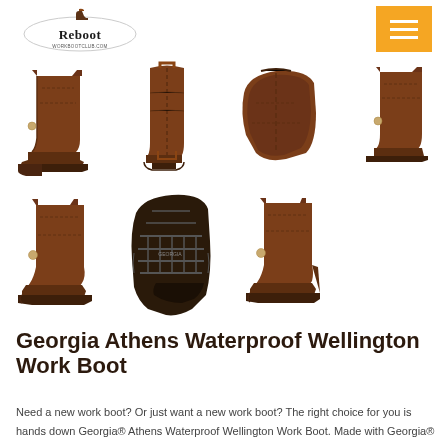[Figure (logo): Reboot logo — oval with 'Reboot' text in serif font, small boot illustration above]
[Figure (photo): Seven product photos of Georgia Athens Waterproof Wellington Work Boot in brown leather, showing various angles: side view, back view, sole top view, side view (4th), side angled view (5th), sole bottom view, side view (7th)]
Georgia Athens Waterproof Wellington Work Boot
Need a new work boot? Or just want a new work boot? The right choice for you is hands down Georgia® Athens Waterproof Wellington Work Boot. Made with Georgia®